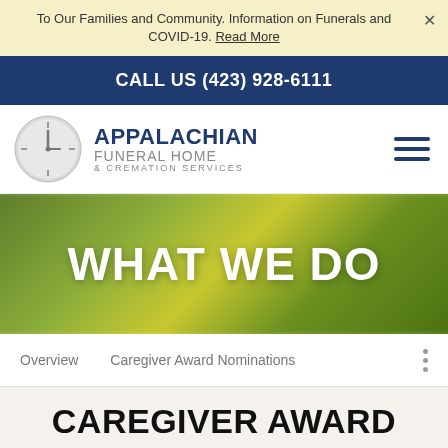To Our Families and Community. Information on Funerals and COVID-19. Read More
CALL US (423) 928-6111
[Figure (logo): Appalachian Funeral Home & Cremation Services logo with clock icon]
WHAT WE DO
Overview
Caregiver Award Nominations
CAREGIVER AWARD